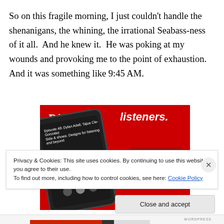So on this fragile morning, I just couldn't handle the shenanigans, the whining, the irrational Seabass-ness of it all.  And he knew it.  He was poking at my wounds and provoking me to the point of exhaustion.  And it was something like 9:45 AM.
[Figure (screenshot): Advertisement showing a smartphone with a podcast app on a red background. The left side shows bold serif text 'Dis-trib-uted' in white on red, and the right side shows 'listeners.' in large white italic text with a dark red 'Download now' button below.]
Privacy & Cookies: This site uses cookies. By continuing to use this website, you agree to their use.
To find out more, including how to control cookies, see here: Cookie Policy
Close and accept